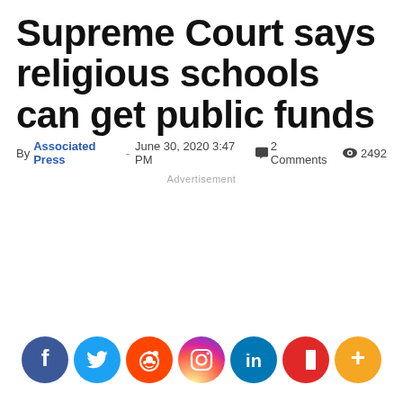Supreme Court says religious schools can get public funds
By Associated Press - June 30, 2020 3:47 PM   2 Comments   2492
Advertisement
[Figure (infographic): Social media share buttons: Facebook, Twitter, Reddit, Instagram, LinkedIn, Flipboard, More]